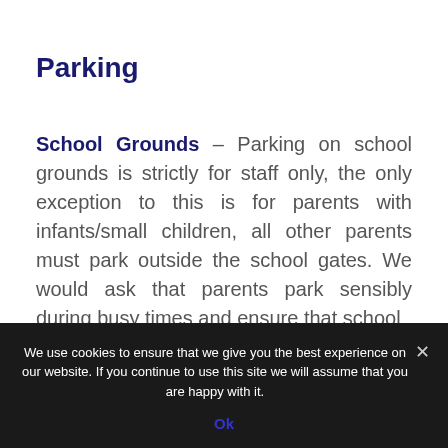Parking
School Grounds – Parking on school grounds is strictly for staff only, the only exception to this is for parents with infants/small children, all other parents must park outside the school gates. We would ask that parents park sensibly during busy times and ensure that school
We use cookies to ensure that we give you the best experience on our website. If you continue to use this site we will assume that you are happy with it. Ok ×